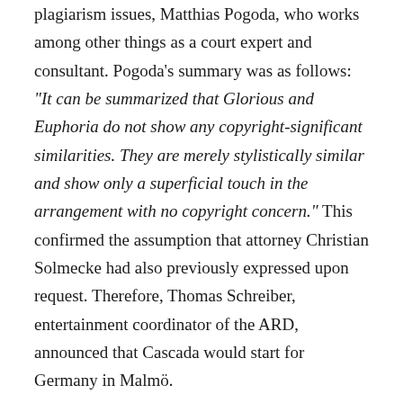plagiarism issues, Matthias Pogoda, who works among other things as a court expert and consultant. Pogoda's summary was as follows: "It can be summarized that Glorious and Euphoria do not show any copyright-significant similarities. They are merely stylistically similar and show only a superficial touch in the arrangement with no copyright concern." This confirmed the assumption that attorney Christian Solmecke had also previously expressed upon request. Therefore, Thomas Schreiber, entertainment coordinator of the ARD, announced that Cascada would start for Germany in Malmö.
Finally, the band competed for Germany in the final of the Eurovision Song Contest 2013 on 18 May 2013 in Malmö. Although the bookmakers saw Cascada in the Top 10, the